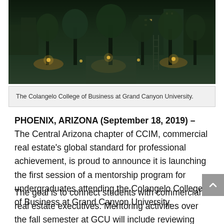[Figure (photo): Nighttime photo of the Colangelo College of Business at Grand Canyon University campus, showing illuminated trees, walkways, and buildings with warm accent lighting in a desert landscape setting.]
The Colangelo College of Business at Grand Canyon University.
PHOENIX, ARIZONA (September 18, 2019) – The Central Arizona chapter of CCIM, commercial real estate's global standard for professional achievement, is proud to announce it is launching the first session of a mentorship program for undergraduates attending the Colangelo College of Business at Grand Canyon University.
The goal is to connect students with commercial real estate executives. Mentoring activities over the fall semester at GCU will include reviewing property information for analysis, students creating and